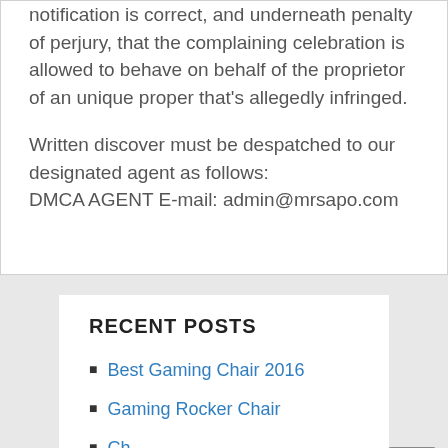notification is correct, and underneath penalty of perjury, that the complaining celebration is allowed to behave on behalf of the proprietor of an unique proper that's allegedly infringed.
Written discover must be despatched to our designated agent as follows:
DMCA AGENT E-mail: admin@mrsapo.com
RECENT POSTS
Best Gaming Chair 2016
Gaming Rocker Chair